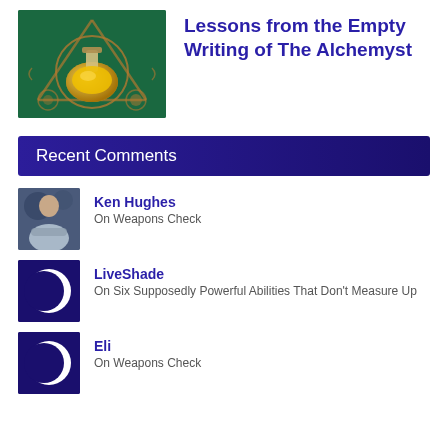[Figure (illustration): Alchemy-themed illustration showing a glass flask/beaker with golden liquid, set against a green background with ornate copper/bronze geometric frame and decorative elements.]
Lessons from the Empty Writing of The Alchemyst
Recent Comments
[Figure (photo): Avatar photo of Ken Hughes, a man with arms crossed wearing a light blue shirt, against a dark blurred background.]
Ken Hughes
On Weapons Check
[Figure (illustration): Avatar for LiveShade: a crescent moon / eclipse symbol (white circle with dark overlay) on a purple/dark blue background.]
LiveShade
On Six Supposedly Powerful Abilities That Don't Measure Up
[Figure (illustration): Avatar for Eli: same crescent moon / eclipse symbol on purple/dark blue background.]
Eli
On Weapons Check